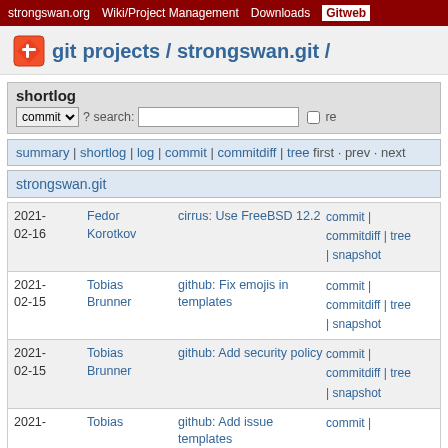strongswan.org | Wiki/Project Management | Downloads | Gitweb
git projects / strongswan.git /
shortlog
commit ? search: re
summary | shortlog | log | commit | commitdiff | tree first · prev · next
strongswan.git
| Date | Author | Message | Links |
| --- | --- | --- | --- |
| 2021-02-16 | Fedor Korotkov | cirrus: Use FreeBSD 12.2 | commit | commitdiff | tree | snapshot |
| 2021-02-15 | Tobias Brunner | github: Fix emojis in templates | commit | commitdiff | tree | snapshot |
| 2021-02-15 | Tobias Brunner | github: Add security policy | commit | commitdiff | tree | snapshot |
| 2021- | Tobias | github: Add issue templates | commit | |